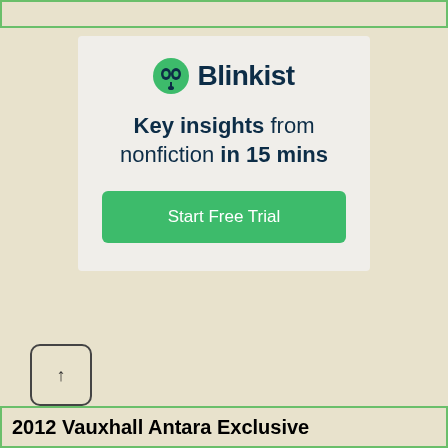[Figure (screenshot): Blinkist advertisement card with logo, tagline 'Key insights from nonfiction in 15 mins', and a green 'Start Free Trial' button on a light gray background]
2012 Vauxhall Antara Exclusive